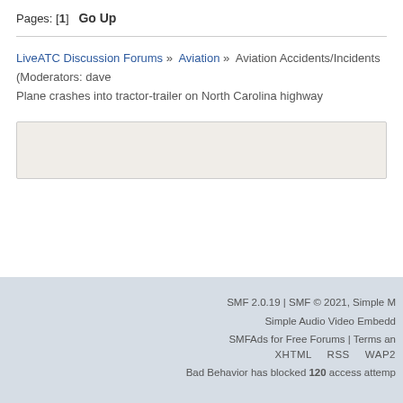Pages: [1]  Go Up
LiveATC Discussion Forums » Aviation » Aviation Accidents/Incidents (Moderators: dave) Plane crashes into tractor-trailer on North Carolina highway
[Figure (other): Advertisement or content box with light beige background]
SMF 2.0.19 | SMF © 2021, Simple M... Simple Audio Video Embedd... SMFAds for Free Forums | Terms an... XHTML  RSS  WAP2  Bad Behavior has blocked 120 access attemp...